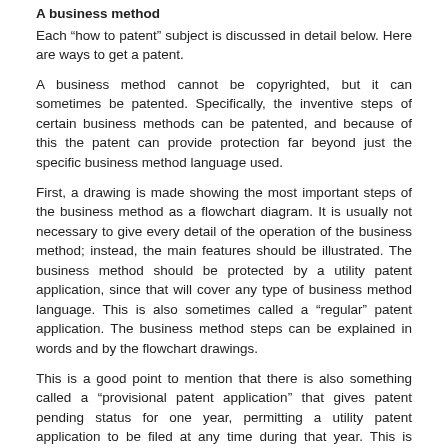A business method
Each “how to patent” subject is discussed in detail below. Here are ways to get a patent.
A business method cannot be copyrighted, but it can sometimes be patented. Specifically, the inventive steps of certain business methods can be patented, and because of this the patent can provide protection far beyond just the specific business method language used.
First, a drawing is made showing the most important steps of the business method as a flowchart diagram. It is usually not necessary to give every detail of the operation of the business method; instead, the main features should be illustrated. The business method should be protected by a utility patent application, since that will cover any type of business method language. This is also sometimes called a “regular” patent application. The business method steps can be explained in words and by the flowchart drawings.
This is a good point to mention that there is also something called a “provisional patent application” that gives patent pending status for one year, permitting a utility patent application to be filed at any time during that year. This is much less expensive, and is recommended when there is an urgent need to get something one file, for example just prior to